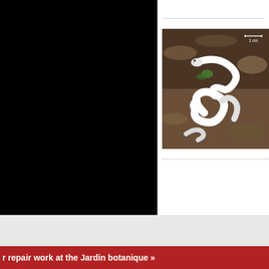[Figure (photo): Photograph of white snake-like organisms (possibly fungal or snake specimens) coiled among leaf litter and debris. A scale bar labeled '1 cm' is visible in the upper right of the photo.]
Let's keep in touch
I S
r repair work at the Jardin botanique »